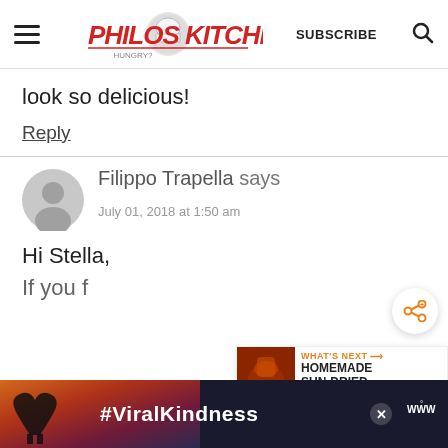Philos Kitchen — SUBSCRIBE
look so delicious!
Reply
Filippo Trapella says
July 01, 2018 at 1:50 am
Hi Stella,
[Figure (screenshot): Advertisement banner with #ViralKindness text and silhouette of hands making a heart shape against a sunset sky background]